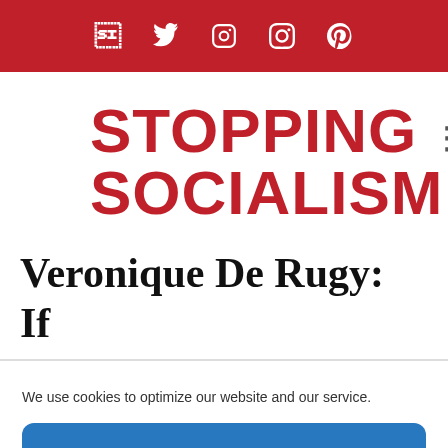f  ⬩  📍  Pinterest
STOPPING SOCIALISM
Veronique De Rugy: If
We use cookies to optimize our website and our service.
Accept
Cookie Policy and Do Not Sell Information Requests